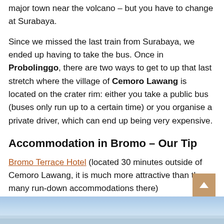major town near the volcano – but you have to change at Surabaya.
Since we missed the last train from Surabaya, we ended up having to take the bus. Once in Probolinggo, there are two ways to get to up that last stretch where the village of Cemoro Lawang is located on the crater rim: either you take a public bus (buses only run up to a certain time) or you organise a private driver, which can end up being very expensive.
Accommodation in Bromo – Our Tip
Bromo Terrace Hotel (located 30 minutes outside of Cemoro Lawang, it is much more attractive than the many run-down accommodations there)
[Figure (photo): Bottom strip showing a blue-toned landscape photo (possibly sky/horizon near Bromo volcano area)]